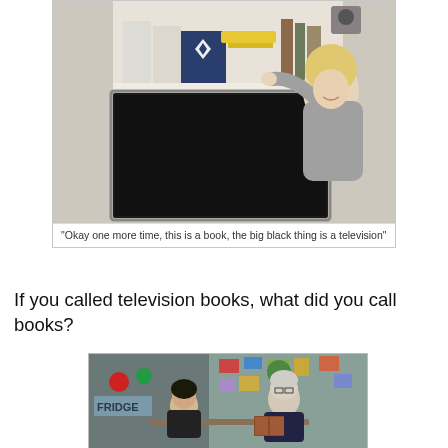[Figure (photo): Woman smiling, reaching up to shelves where a flat-screen TV is mounted, appearing to show the difference between a book and a television]
"Okay one more time, this is a book, the big black thing is a television"
If you called television books, what did you call books?
[Figure (photo): Scene from a TV show with a boy sitting at a table with an older man who appears to be showing him a book, in a cluttered room with posters and a sign reading FRIDGE]